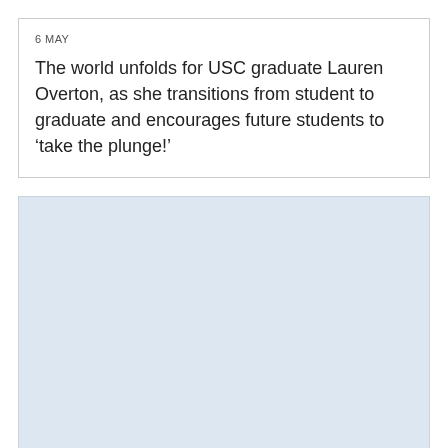6 MAY
The world unfolds for USC graduate Lauren Overton, as she transitions from student to graduate and encourages future students to ‘take the plunge!’
[Figure (other): Light blue rectangular placeholder box]